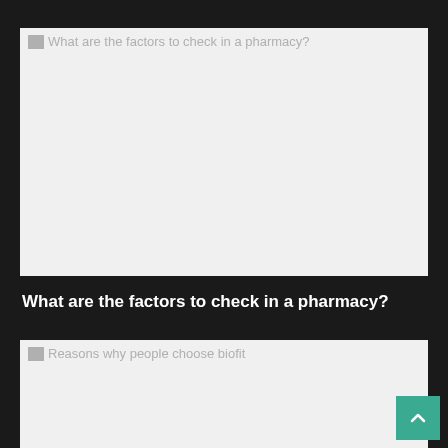[Figure (photo): Broken/placeholder image labeled 'What are the factors to check in a pharmacy?' — a large light gray rectangle representing a failed image load]
What are the factors to check in a pharmacy?
[Figure (photo): Broken/placeholder image labeled 'Reasons why people choose biofit' — a large light gray rectangle representing a failed image load]